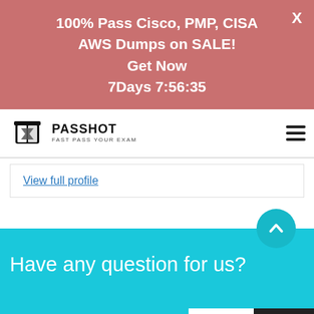100% Pass Cisco, PMP, CISA AWS Dumps on SALE!
Get Now
7Days 7:56:35
[Figure (logo): Passhot logo with book and hourglass icon, text PASSHOT FAST PASS YOUR EXAM]
View full profile
Have any question for us?
Inquire  Chat